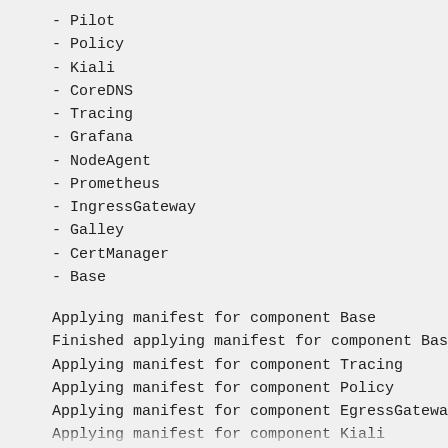- Pilot
- Policy
- Kiali
- CoreDNS
- Tracing
- Grafana
- NodeAgent
- Prometheus
- IngressGateway
- Galley
- CertManager
- Base
Applying manifest for component Base
Finished applying manifest for component Base
Applying manifest for component Tracing
Applying manifest for component Policy
Applying manifest for component EgressGateway
Applying manifest for component Kiali
Applying manifest for component Citadel
Applying manifest for component Galley
Applying manifest for component IngressGateway
Applying manifest for component Prometheus
Applying manifest for component Pilot
Applying manifest for component Injector
Applying manifest for component Telemetry